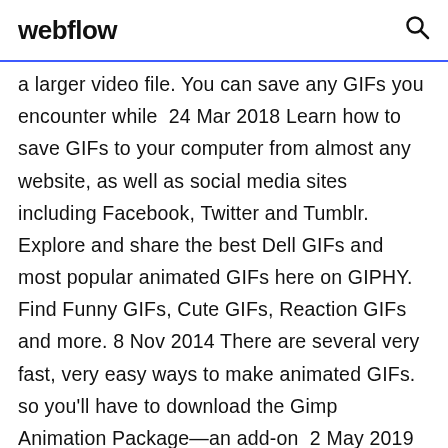webflow
a larger video file. You can save any GIFs you encounter while  24 Mar 2018 Learn how to save GIFs to your computer from almost any website, as well as social media sites including Facebook, Twitter and Tumblr. Explore and share the best Dell GIFs and most popular animated GIFs here on GIPHY. Find Funny GIFs, Cute GIFs, Reaction GIFs and more. 8 Nov 2014 There are several very fast, very easy ways to make animated GIFs. so you'll have to download the Gimp Animation Package—an add-on  2 May 2019 Even if you do tell Windows 10 to set a GIF file your Desktop Go here and download the Desktop Background Switcher package which 14 Nov 2019 It might depend on how old your